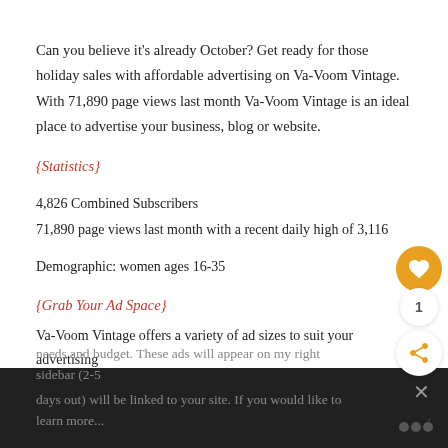Can you believe it's already October? Get ready for those holiday sales with affordable advertising on Va-Voom Vintage.  With 71,890 page views last month Va-Voom Vintage is an ideal place to advertise your business, blog or website.
{Statistics}
4,826 Combined Subscribers
71,890 page views last month with a recent daily high of 3,116
Demographic: women ages 16-35
{Grab Your Ad Space}
Va-Voom Vintage offers a variety of ad sizes to suit your advertising needs and budget. These ads will appear on my right sidebar (2-5 days out) will be linked to your site. If you would like to learn more...